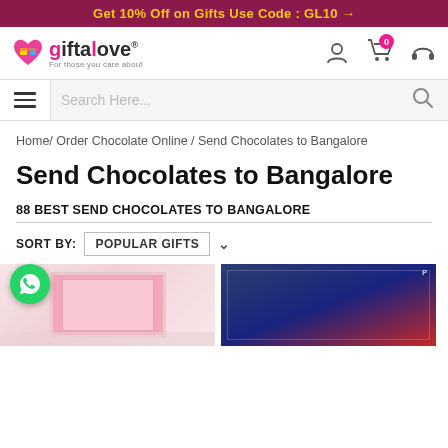Get 10% Off on Gifts Use Code : GL10 →
[Figure (logo): Giftalove logo with heart icon and tagline 'For those you care about']
Search Here...
Home/ Order Chocolate Online / Send Chocolates to Bangalore
Send Chocolates to Bangalore
88 BEST SEND CHOCOLATES TO BANGALORE
SORT BY: POPULAR GIFTS
[Figure (photo): Two product images showing chocolate gift items - a pink gift box on the left and a chocolate bar package on the right]